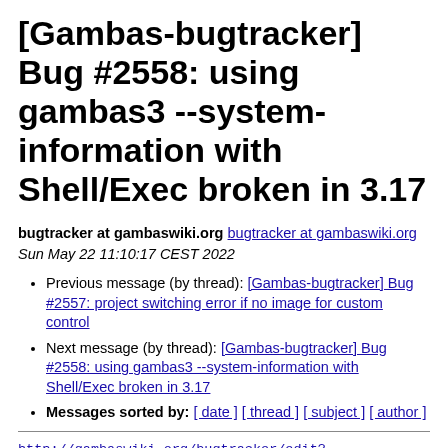[Gambas-bugtracker] Bug #2558: using gambas3 --system-information with Shell/Exec broken in 3.17
bugtracker at gambaswiki.org bugtracker at gambaswiki.org
Sun May 22 11:10:17 CEST 2022
Previous message (by thread): [Gambas-bugtracker] Bug #2557: project switching error if no image for custom control
Next message (by thread): [Gambas-bugtracker] Bug #2558: using gambas3 --system-information with Shell/Exec broken in 3.17
Messages sorted by: [ date ] [ thread ] [ subject ] [ author ]
http://gambaswiki.org/bugtracker/edit?object=BUG.2558&from=L21haW4-
Bruce STEERS reported a new bug.